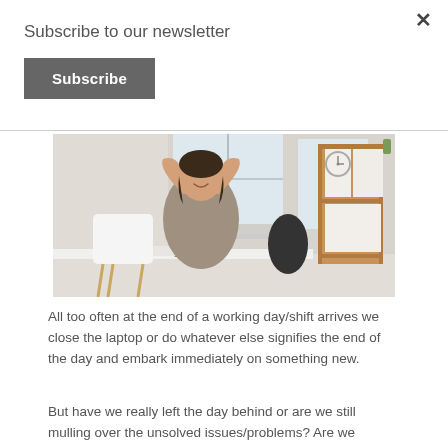Subscribe to our newsletter
Subscribe
[Figure (photo): Woman sitting at a desk in a bright modern office, leaning back with hands behind her head, smiling with eyes closed; laptop, glasses, and notebook on desk; wooden bookshelf to the right; white chairs in background.]
All too often at the end of a working day/shift arrives we close the laptop or do whatever else signifies the end of the day and embark immediately on something new.
But have we really left the day behind or are we still mulling over the unsolved issues/problems? Are we